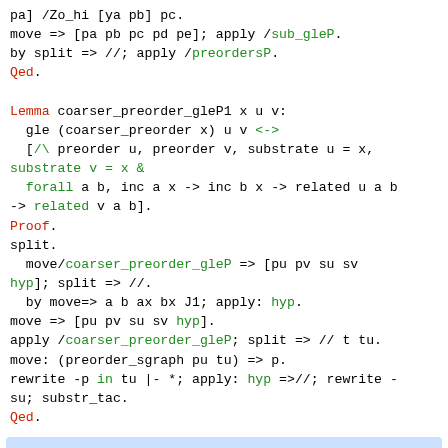pa] /Zo_hi [ya pb] pc.
move => [pa pb pc pd pe]; apply /sub_gleP.
by split => //; apply /preordersP.
Qed.

Lemma coarser_preorder_gleP1 x u v:
  gle (coarser_preorder x) u v <->
  [/\ preorder u, preorder v, substrate u = x,
substrate v = x &
  forall a b, inc a x -> inc b x -> related u a b
-> related v a b].
Proof.
split.
  move/coarser_preorder_gleP => [pu pv su sv
hyp]; split => //.
  by move=> a b ax bx J1; apply: hyp.
move => [pu pv su sv hyp].
apply /coarser_preorder_gleP; split => // t tu.
move: (preorder_sgraph pu tu) => p.
rewrite -p in tu |- *; apply: hyp =>//; rewrite -
su; substr_tac.
Qed.
If g is a family of orders, we consider f the family of susbtrates. We consider here the ordering induced by g on the product of f